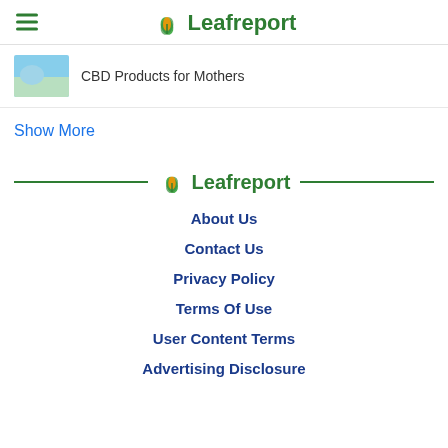Leafreport
CBD Products for Mothers
Show More
[Figure (logo): Leafreport logo with leaf icon and green text]
About Us
Contact Us
Privacy Policy
Terms Of Use
User Content Terms
Advertising Disclosure